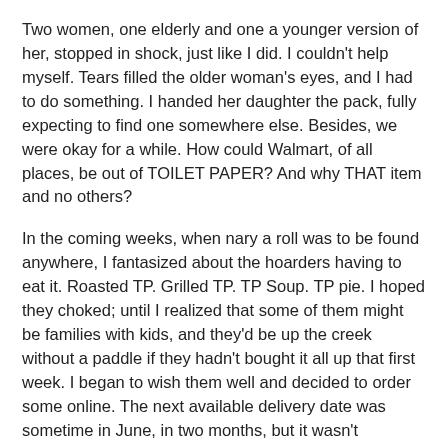Two women, one elderly and one a younger version of her, stopped in shock, just like I did. I couldn't help myself. Tears filled the older woman's eyes, and I had to do something. I handed her daughter the pack, fully expecting to find one somewhere else. Besides, we were okay for a while. How could Walmart, of all places, be out of TOILET PAPER? And why THAT item and no others?
In the coming weeks, when nary a roll was to be found anywhere, I fantasized about the hoarders having to eat it. Roasted TP. Grilled TP. TP Soup. TP pie. I hoped they choked; until I realized that some of them might be families with kids, and they'd be up the creek without a paddle if they hadn't bought it all up that first week. I began to wish them well and decided to order some online. The next available delivery date was sometime in June, in two months, but it wasn't guaranteed. A friend suggested I search Amazon for a bidet.
Having lived in Italy in the late '60s, early '70s, I was familiar with bidets, simple low basins separate from the toilet with shower nozzles that sprayed upward. Back then, they were a